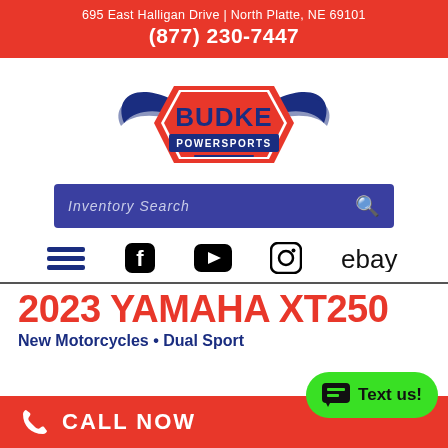695 East Halligan Drive | North Platte, NE 69101
(877) 230-7447
[Figure (logo): Budke Powersports logo — blue wings with orange/red shield, 'BUDKE' in blue bold text, 'POWERSPORTS' in white on red banner]
Inventory Search
[Figure (infographic): Navigation icon row: hamburger menu, Facebook icon, YouTube icon, Instagram icon, eBay wordmark]
2023 YAMAHA XT250
New Motorcycles • Dual Sport
CALL NOW
Text us!